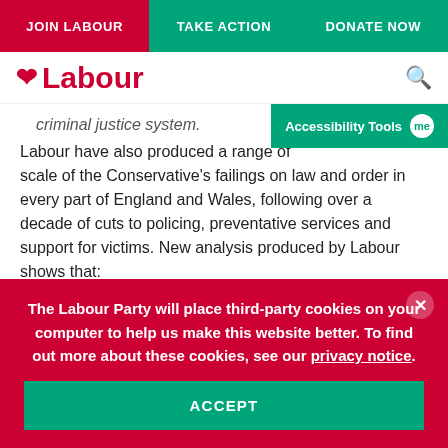JOIN LABOUR | TAKE ACTION | DONATE NOW
[Figure (logo): Labour Party rose logo with text 'Labour' in red]
criminal justice system.
Labour have also produced a range of [content obscured by Accessibility Tools overlay] scale of the Conservative's failings on law and order in every part of England and Wales, following over a decade of cuts to policing, preventative services and support for victims. New analysis produced by Labour shows that:
In the last year, there were on average 4,900 violent
The Labour Party will place third-party cookies on your computer to help us make this website better. To find out more about these cookies, see our privacy notice.
ACCEPT